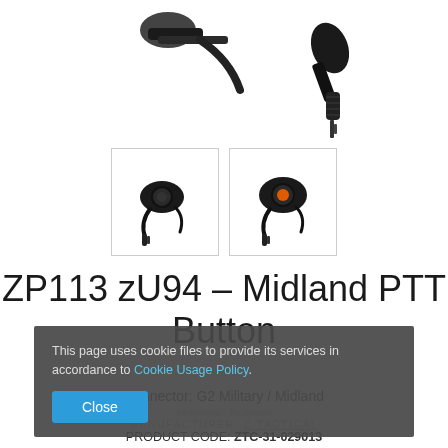[Figure (photo): Main product photo of ZP113 zU94 Midland PTT Button device with cable and connector, partially cropped at top]
[Figure (photo): Thumbnail photo 1: PTT button device front view]
[Figure (photo): Thumbnail photo 2: PTT button device with orange button visible]
ZP113 zU94 - Midland PTT Button
Connector: G2 Military / Midland
Material: Rubber
This page uses cookie files to provide its services in accordance to Cookie Usage Policy.
Close
MANUFACTURER: Z-TACTICAL
PRODUCT CODE: ZTC-31-029013